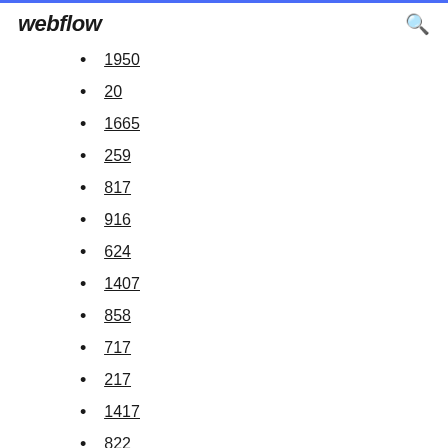webflow
1950
20
1665
259
817
916
624
1407
858
717
217
1417
822